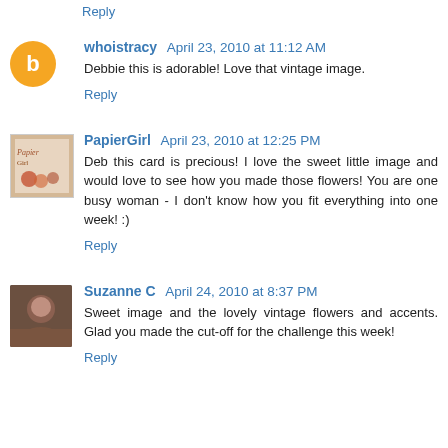Reply (partial, top cut off)
whoistracy  April 23, 2010 at 11:12 AM
Debbie this is adorable! Love that vintage image.
Reply
PapierGirl  April 23, 2010 at 12:25 PM
Deb this card is precious! I love the sweet little image and would love to see how you made those flowers! You are one busy woman - I don't know how you fit everything into one week! :)
Reply
Suzanne C  April 24, 2010 at 8:37 PM
Sweet image and the lovely vintage flowers and accents. Glad you made the cut-off for the challenge this week!
Reply